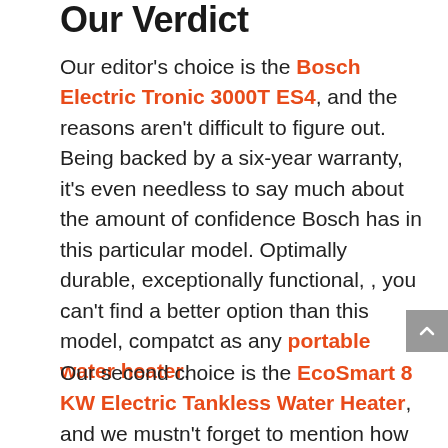Our Verdict
Our editor's choice is the Bosch Electric Tronic 3000T ES4, and the reasons aren't difficult to figure out. Being backed by a six-year warranty, it's even needless to say much about the amount of confidence Bosch has in this particular model. Optimally durable, exceptionally functional, , you can't find a better option than this model, compatct as any portable water heater.
Our second choice is the EcoSmart 8 KW Electric Tankless Water Heater, and we mustn't forget to mention how stern of